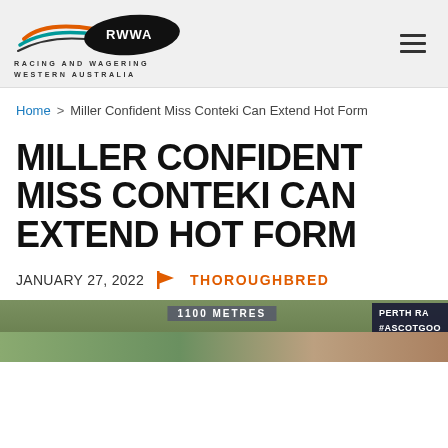RACING AND WAGERING WESTERN AUSTRALIA
Home > Miller Confident Miss Conteki Can Extend Hot Form
MILLER CONFIDENT MISS CONTEKI CAN EXTEND HOT FORM
JANUARY 27, 2022  THOROUGHBRED
[Figure (photo): Horse racing finish line photo showing '1100 METRES' banner and 'PERTH RA' / '#ASCOTGOO' signage]